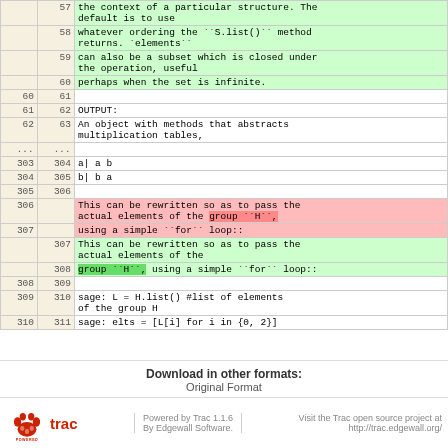| old ln | new ln | content |
| --- | --- | --- |
|  | 57 |     the context of a particular structure. The default is to use |
|  | 58 |     whatever ordering the ``S.list()`` method returns. `elements`` |
|  | 59 |     can also be a subset which is closed under the operation, useful |
|  | 60 |     perhaps when the set is infinite. |
| 60 | 61 |  |
| 61 | 62 |     OUTPUT: |
| 62 | 63 |     An object with methods that abstracts multiplication tables, |
| .... | .... |  |
| 303 | 304 |     a| a b |
| 304 | 305 |     b| b a |
| 305 | 306 |  |
| 306 |  |     This can be rewritten so as to pass the actual elements of the group ``H``, |
| 307 |  |     using a simple ``for`` loop:: |
|  | 307 |     This can be rewritten so as to pass the actual elements of the |
|  | 308 |     group ``H``, using a simple ``for`` loop:: |
| 308 | 309 |  |
| 309 | 310 |     sage: L = H.list()    #list of elements of the group H |
| 310 | 311 |     sage: elts = [L[i] for i in {0, 2}] |
Download in other formats:
Original Format
Powered by Trac 1.1.6
By Edgewall Software.
Visit the Trac open source project at http://trac.edgewall.org/